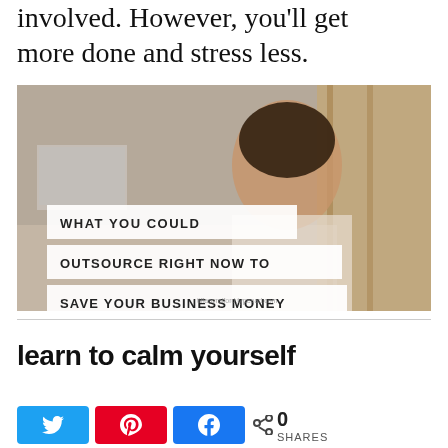involved. However, you'll get more done and stress less.
[Figure (photo): Woman smiling at desk with overlaid text banners reading: WHAT YOU COULD OUTSOURCE RIGHT NOW TO SAVE YOUR BUSINESS MONEY]
learn to calm yourself
< 0 SHARES